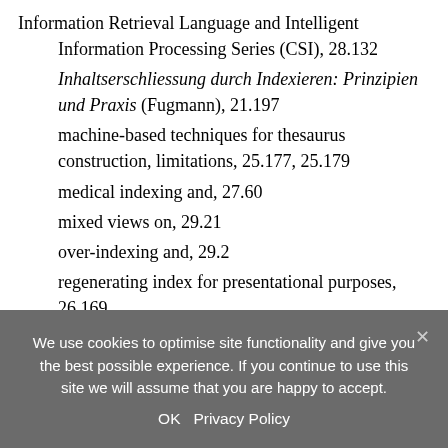Information Retrieval Language and Intelligent Information Processing Series (CSI), 28.132
Inhaltserschliessung durch Indexieren: Prinzipien und Praxis (Fugmann), 21.197
machine-based techniques for thesaurus construction, limitations, 25.177, 25.179
medical indexing and, 27.60
mixed views on, 29.21
over-indexing and, 29.2
regenerating index for presentational purposes, 26.169
semi-automatic indexing, 25.23–27
tagging and, 26.168–29
We use cookies to optimise site functionality and give you the best possible experience. If you continue to use this site we will assume that you are happy to accept.
OK   Privacy Policy